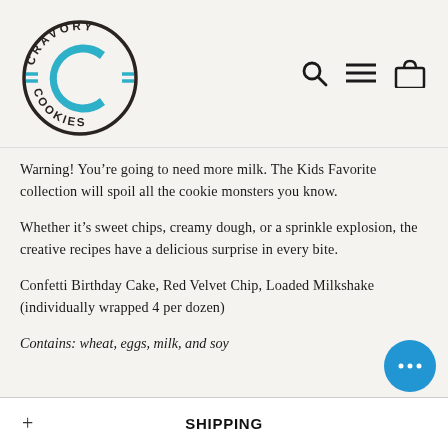[Figure (logo): Cravory Cookies circular logo with teal C and brown text arranged in a circle]
Warning! You’re going to need more milk. The Kids Favorite collection will spoil all the cookie monsters you know.
Whether it’s sweet chips, creamy dough, or a sprinkle explosion, the creative recipes have a delicious surprise in every bite.
Confetti Birthday Cake, Red Velvet Chip, Loaded Milkshake (individually wrapped 4 per dozen)
Contains: wheat, eggs, milk, and soy
+ SHIPPING